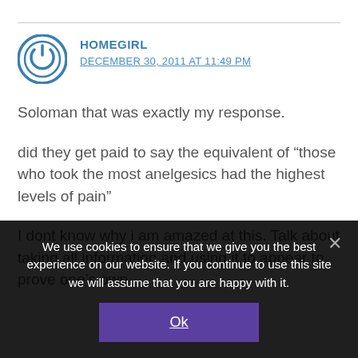HOMEGIRL
DECEMBER 30, 2011 AT 11:49 PM
Soloman that was exactly my response.
did they get paid to say the equivalent of “those who took the most anelgesics had the highest levels of pain”
I dont know why i am amazed at this. Talk about taking all information and using it to appear to prove one’s own
We use cookies to ensure that we give you the best experience on our website. If you continue to use this site we will assume that you are happy with it.
Ok